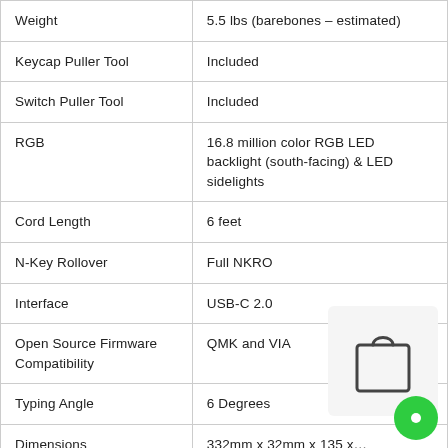| Feature | Value |
| --- | --- |
| Weight | 5.5 lbs (barebones – estimated) |
| Keycap Puller Tool | Included |
| Switch Puller Tool | Included |
| RGB | 16.8 million color RGB LED backlight (south-facing) & LED sidelights |
| Cord Length | 6 feet |
| N-Key Rollover | Full NKRO |
| Interface | USB-C 2.0 |
| Open Source Firmware Compatibility | QMK and VIA |
| Typing Angle | 6 Degrees |
| Dimensions | 332mm x 32mm x 135 x… |